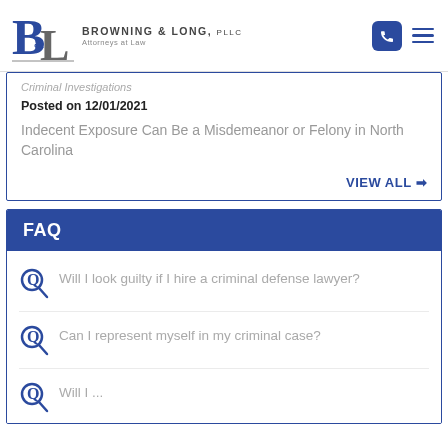Browning & Long, PLLC — Attorneys at Law
Criminal Investigations
Posted on 12/01/2021
Indecent Exposure Can Be a Misdemeanor or Felony in North Carolina
VIEW ALL
FAQ
Will I look guilty if I hire a criminal defense lawyer?
Can I represent myself in my criminal case?
Will I ...